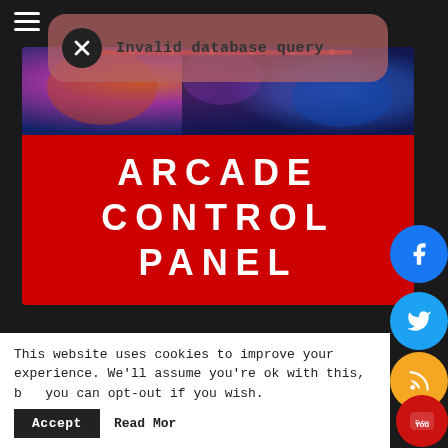[Figure (screenshot): Hamburger menu icon (three white horizontal bars) in top-left corner on dark background]
[Figure (screenshot): Error dialog overlay with dark circle X icon and text 'Invalid database query' on semi-transparent reddish background]
[Figure (screenshot): Arcade control panel hero image: top portion shows decorative colorful photo strip; lower red section displays large white bold text 'ARCADE CONTROL PANEL']
Invalid database query
ARCADE CONTROL PANEL
This website uses cookies to improve your experience. We'll assume you're ok with this, but you can opt-out if you wish.
Accept
Read More